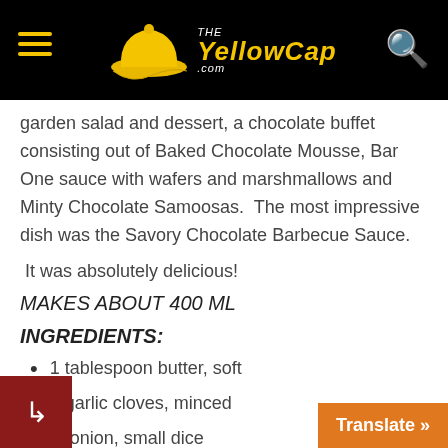The YellowCap .com
garden salad and dessert, a chocolate buffet consisting out of Baked Chocolate Mousse, Bar One sauce with wafers and marshmallows and Minty Chocolate Samoosas.  The most impressive dish was the Savory Chocolate Barbecue Sauce.
It was absolutely delicious!
MAKES ABOUT 400 ML
INGREDIENTS:
1 tablespoon butter, soft
4 garlic cloves, minced
½ onion, small dice
2 tomatoes, stem removed, small dice
50 g dark brown sugar